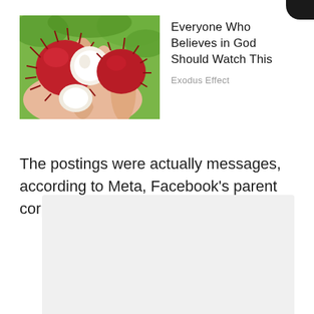[Figure (photo): A hand holding red rambutan fruits with one peeled showing white interior, outdoors with green background]
Everyone Who Believes in God Should Watch This
Exodus Effect
The postings were actually messages, according to Meta, Facebook's parent corporation.
[Figure (other): Light gray placeholder rectangle at the bottom of the page]